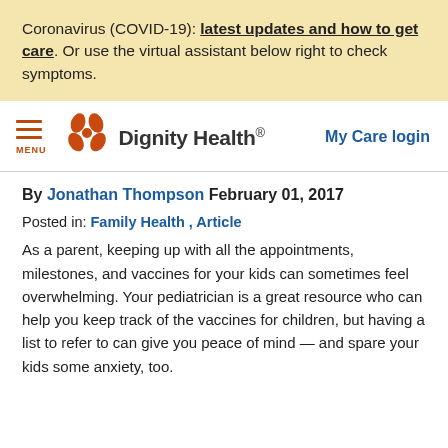Coronavirus (COVID-19): latest updates and how to get care. Or use the virtual assistant below right to check symptoms.
[Figure (logo): Dignity Health logo with menu icon and My Care login link in navbar]
By Jonathan Thompson February 01, 2017
Posted in: Family Health , Article
As a parent, keeping up with all the appointments, milestones, and vaccines for your kids can sometimes feel overwhelming. Your pediatrician is a great resource who can help you keep track of the vaccines for children, but having a list to refer to can give you peace of mind — and spare your kids some anxiety, too.